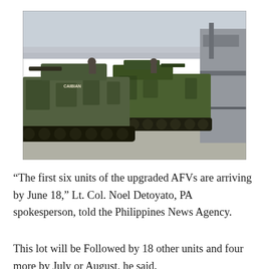[Figure (photo): Two camouflage-painted armored fighting vehicles (AFVs/APCs) on a dock, with a naval vessel visible in the background to the right.]
“The first six units of the upgraded AFVs are arriving by June 18,” Lt. Col. Noel Detoyato, PA spokesperson, told the Philippines News Agency.
This lot will be Followed by 18 other units and four more by July or August, he said.